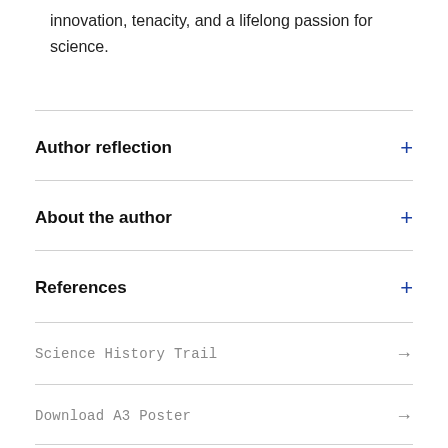innovation, tenacity, and a lifelong passion for science.
Author reflection
About the author
References
Science History Trail
Download A3 Poster